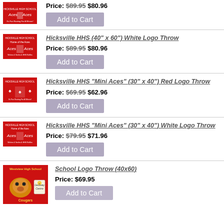[Figure (photo): Red product thumbnail - Aces throw (top, partial)]
Price: $89.95 $80.96
Add to Cart
Hicksville HHS (40" x 60") White Logo Throw
Price: $89.95 $80.96
Add to Cart
Hicksville HHS "Mini Aces" (30" x 40") Red Logo Throw
Price: $69.95 $62.96
Add to Cart
Hicksville HHS "Mini Aces" (30" x 40") White Logo Throw
Price: $79.95 $71.96
Add to Cart
[Figure (photo): Westview High School Cougars logo throw - cougar mascot on red background]
School Logo Throw (40x60)
Price: $69.95
Add to Cart